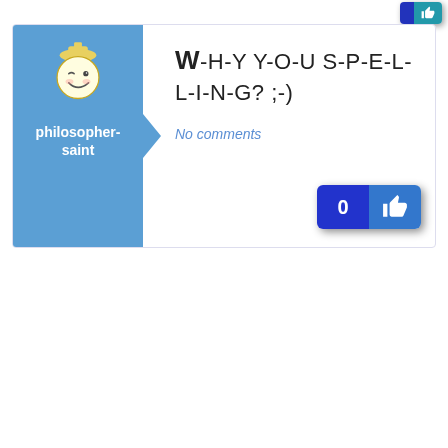[Figure (screenshot): Social media / forum post card showing avatar panel with 'philosopher-saint' username and smiley icon, post title 'W-H-Y Y-O-U S-P-E-L-L-I-N-G? ;-)', 'No comments' link, and a like button showing count 0 with thumbs-up icon.]